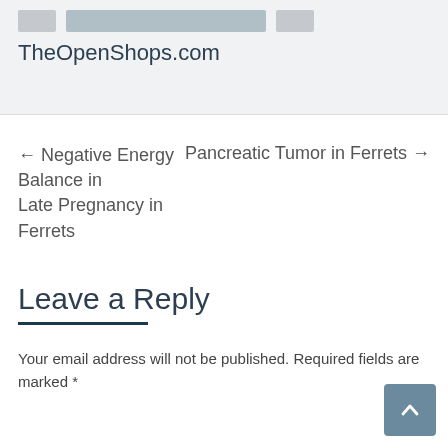[Figure (screenshot): Top banner with TheOpenShops.com logo/site name on a light grey background, with two small thumbnail image placeholders above the text]
← Negative Energy Balance in Late Pregnancy in Ferrets
Pancreatic Tumor in Ferrets →
Leave a Reply
Your email address will not be published. Required fields are marked *